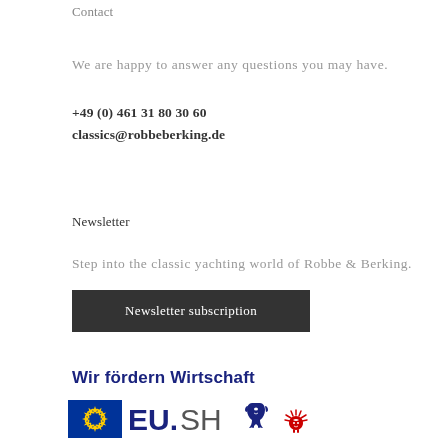Contact
We are happy to answer any questions you may have.
+49 (0) 461 31 80 30 60
classics@robbeberking.de
Newsletter
Step into the classic yachting world of Robbe & Berking.
Newsletter subscription
Wir fördern Wirtschaft
[Figure (logo): EU flag logo, EU.SH text logo, and Schleswig-Holstein lion/hedgehog coat of arms logo]